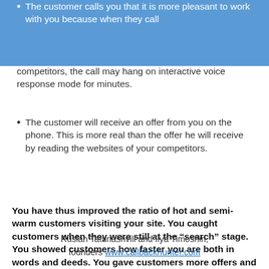The customer calls you that it is more pleasant to work with you because when they call competitors, the call may hang on interactive voice response mode for minutes.
The customer will receive an offer from you on the phone. This is more real than the offer he will receive by reading the websites of your competitors.
You have thus improved the ratio of hot and semi-warm customers visiting your site. You caught customers when they were still at the “search” stage. You showed customers how faster you are both in words and deeds. You gave customers more offers and closed more deals.
Ruslan Tatunashvili and Ilya Timoshin, founders www.callbackhunter.com